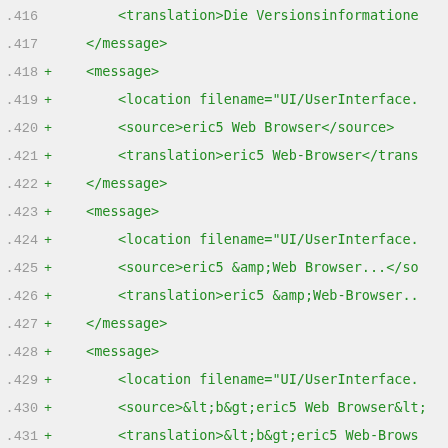Code diff showing XML localization file lines 416-435 with added message blocks for eric5 Web Browser translations and UserPropertiesDialog context